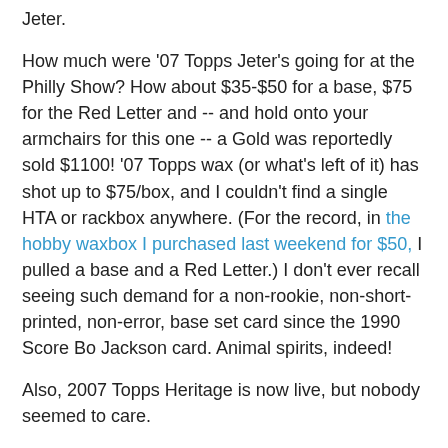Jeter.
How much were '07 Topps Jeter's going for at the Philly Show? How about $35-$50 for a base, $75 for the Red Letter and -- and hold onto your armchairs for this one -- a Gold was reportedly sold $1100! '07 Topps wax (or what's left of it) has shot up to $75/box, and I couldn't find a single HTA or rackbox anywhere. (For the record, in the hobby waxbox I purchased last weekend for $50, I pulled a base and a Red Letter.) I don't ever recall seeing such demand for a non-rookie, non-short-printed, non-error, base set card since the 1990 Score Bo Jackson card. Animal spirits, indeed!
Also, 2007 Topps Heritage is now live, but nobody seemed to care.
Stack of 22 different 2006 Upper Deck Update SPs and 19 different UD Update commons (paid $100)
Speaking of animal spirits...